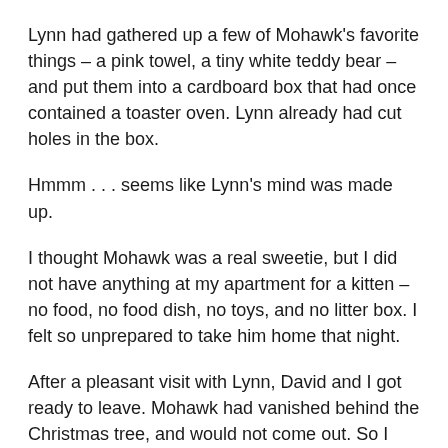Lynn had gathered up a few of Mohawk's favorite things – a pink towel, a tiny white teddy bear – and put them into a cardboard box that had once contained a toaster oven. Lynn already had cut holes in the box.
Hmmm . . . seems like Lynn's mind was made up.
I thought Mohawk was a real sweetie, but I did not have anything at my apartment for a kitten – no food, no food dish, no toys, and no litter box. I felt so unprepared to take him home that night.
After a pleasant visit with Lynn, David and I got ready to leave. Mohawk had vanished behind the Christmas tree, and would not come out. So I suggested to Lynn that we come back another time (also to give me time to acquire the essentials). In reply, Lynn grabbed a box of dry cat food, rattled it, and Mohawk flew out from behind the Christmas